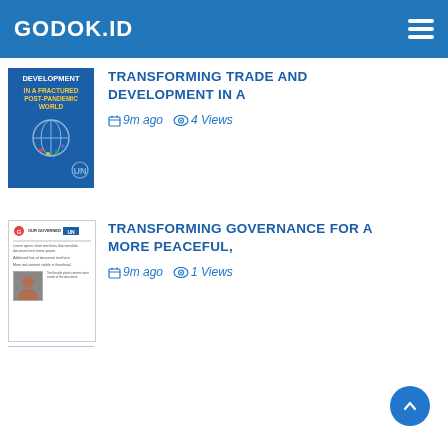GODOK.ID
TRANSFORMING TRADE AND DEVELOPMENT IN A
9m ago  4 Views
[Figure (photo): Book cover thumbnail: Development in a Fractured Post-Pandemic World, blue background with UN emblem]
TRANSFORMING GOVERNANCE FOR A MORE PEACEFUL,
9m ago  1 Views
[Figure (photo): Document thumbnail showing text content and a portrait photo]